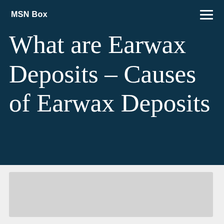MSN Box
What are Earwax Deposits – Causes of Earwax Deposits
[Figure (photo): Partially visible image placeholder in the white section below the dark header]